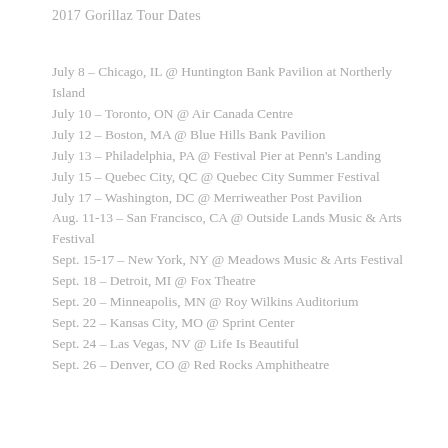2017 Gorillaz Tour Dates
July 8 – Chicago, IL @ Huntington Bank Pavilion at Northerly Island
July 10 – Toronto, ON @ Air Canada Centre
July 12 – Boston, MA @ Blue Hills Bank Pavilion
July 13 – Philadelphia, PA @ Festival Pier at Penn's Landing
July 15 – Quebec City, QC @ Quebec City Summer Festival
July 17 – Washington, DC @ Merriweather Post Pavilion
Aug. 11-13 – San Francisco, CA @ Outside Lands Music & Arts Festival
Sept. 15-17 – New York, NY @ Meadows Music & Arts Festival
Sept. 18 – Detroit, MI @ Fox Theatre
Sept. 20 – Minneapolis, MN @ Roy Wilkins Auditorium
Sept. 22 – Kansas City, MO @ Sprint Center
Sept. 24 – Las Vegas, NV @ Life Is Beautiful
Sept. 26 – Denver, CO @ Red Rocks Amphitheatre